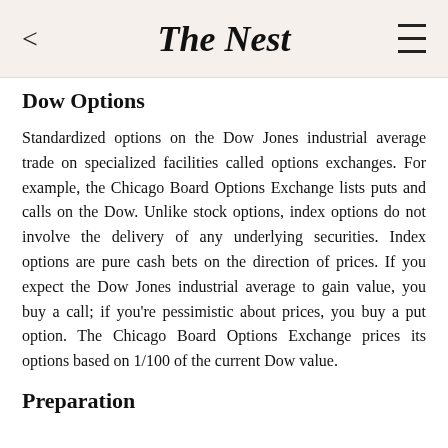The Nest
Dow Options
Standardized options on the Dow Jones industrial average trade on specialized facilities called options exchanges. For example, the Chicago Board Options Exchange lists puts and calls on the Dow. Unlike stock options, index options do not involve the delivery of any underlying securities. Index options are pure cash bets on the direction of prices. If you expect the Dow Jones industrial average to gain value, you buy a call; if you're pessimistic about prices, you buy a put option. The Chicago Board Options Exchange prices its options based on 1/100 of the current Dow value.
Preparation